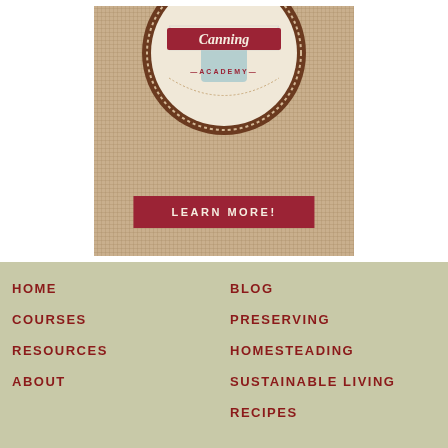[Figure (logo): Canning Academy logo badge on burlap background with a red 'LEARN MORE!' button. The badge is circular with a vintage style, showing a mason jar and ribbon banner reading 'Canning ACADEMY'.]
HOME
COURSES
RESOURCES
ABOUT
BLOG
PRESERVING
HOMESTEADING
SUSTAINABLE LIVING
RECIPES